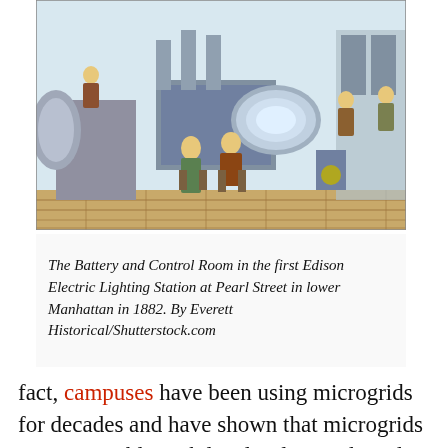[Figure (illustration): Historical illustration of The Battery and Control Room in the first Edison Electric Lighting Station at Pearl Street in lower Manhattan in 1882. Shows large industrial machinery with workers/operators standing around it.]
The Battery and Control Room in the first Edison Electric Lighting Station at Pearl Street in lower Manhattan in 1882. By Everett Historical/Shutterstock.com
fact, campuses have been using microgrids for decades and have shown that microgrids are compatible with local utility grids and provide benefits to both